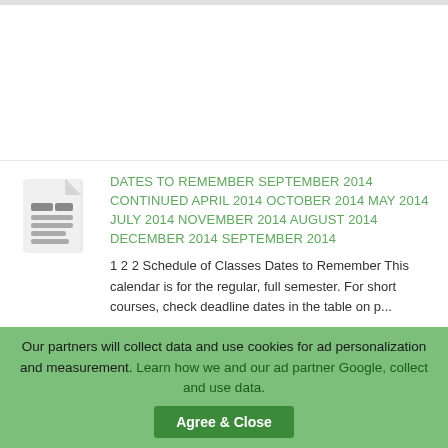[Figure (illustration): Document/file icon (grey document with text lines)]
Dates to Remember SEPTEMBER 2014 CONTINUED APRIL 2014 OCTOBER 2014 MAY 2014 JULY 2014 NOVEMBER 2014 AUGUST 2014 DECEMBER 2014 SEPTEMBER 2014
1 2 2 Schedule of Classes Dates to Remember This calendar is for the regular, full semester. For short courses, check deadline dates in the table on p...
[Figure (photo): Thumbnail image (partially visible, brownish/portrait photo)]
2014 ACTIVITY REPORT 2014
Our partners will collect data and use cookies for ad personalization and measurement. Learn how we and our ad partner Google, collect and use data.